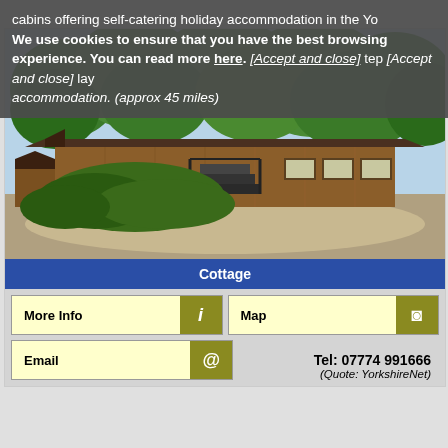We use cookies to ensure that you have the best browsing experience. You can read more here. [Accept and close]
cabins offering self-catering holiday accommodation in the Yorkshire... (approx 45 miles)
[Figure (photo): Wooden holiday cottage/cabin building with steps leading to entrance, surrounded by trees and shrubs, gravel area in front]
Cottage
More Info
Map
Email
Tel: 07774 991666 (Quote: YorkshireNet)